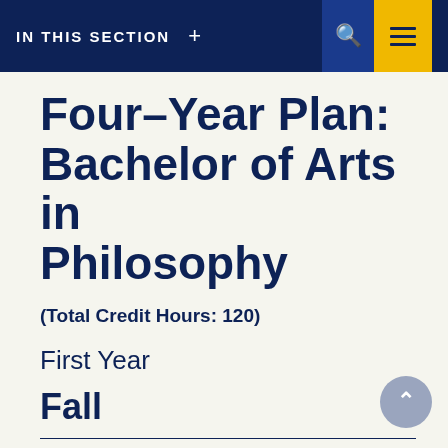IN THIS SECTION +
Four-Year Plan: Bachelor of Arts in Philosophy
(Total Credit Hours: 120)
First Year
Fall
| Courses | Hours |
| --- | --- |